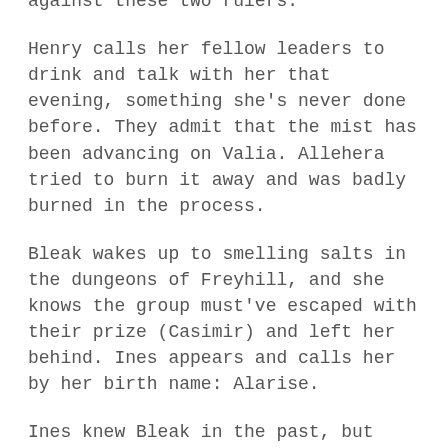the plan: to join Lydis in her fight against these two rulers.
Henry calls her fellow leaders to drink and talk with her that evening, something she's never done before. They admit that the mist has been advancing on Valia. Allehera tried to burn it away and was badly burned in the process.
Bleak wakes up to smelling salts in the dungeons of Freyhill, and she knows the group must've escaped with their prize (Casimir) and left her behind. Ines appears and calls her by her birth name: Alarise.
Ines knew Bleak in the past, but Bleak has no memory of it. Bleak's family (the Thorntons) served as mediators between the two ruling families. Bleak is hit with a vision of the past in which Ines tells the ruling families there's been a prediction that Bleak and Prince Ermias will fall in love. Ermias's father agrees to separate them. Ines says the whole time she was